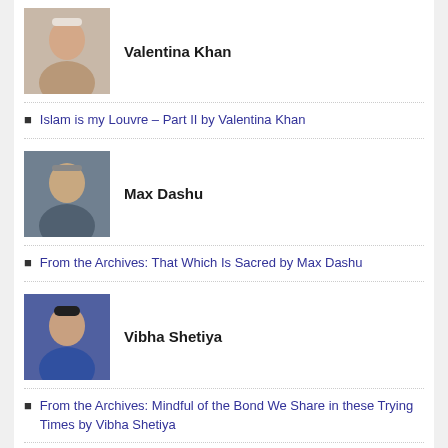[Figure (photo): Portrait photo of Valentina Khan]
Valentina Khan
Islam is my Louvre – Part II by Valentina Khan
[Figure (photo): Portrait photo of Max Dashu]
Max Dashu
From the Archives: That Which Is Sacred by Max Dashu
[Figure (photo): Portrait photo of Vibha Shetiya]
Vibha Shetiya
From the Archives: Mindful of the Bond We Share in these Trying Times by Vibha Shetiya
[Figure (photo): Portrait photo of Vanessa Rivera de la Fuente]
Vanessa Rivera de la Fuente
“If All Knowledge Must be Reinterpreted, Why Not Religion?” Says Islamic Feminist
[Figure (photo): Portrait photo of Molly Remer]
Molly Remer